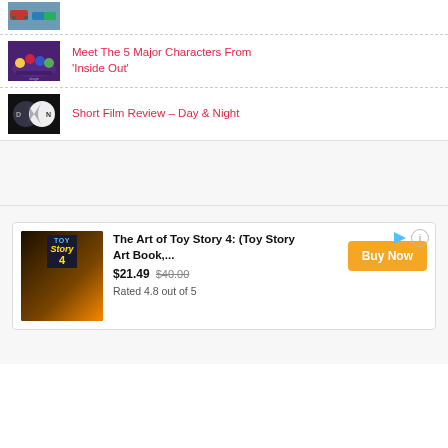[Figure (photo): Thumbnail image of Cars movie characters]
(partial pink/red link text cut off at top)
[Figure (photo): Thumbnail of Inside Out characters on stage with colorful lighting]
Meet The 5 Major Characters From 'Inside Out'
[Figure (photo): Thumbnail of Day & Night short film - silhouette figures]
Short Film Review – Day & Night
[Figure (other): Advertisement: The Art of Toy Story 4 book. Price $21.49 (was $40.00). Rated 4.8 out of 5. Buy Now button.]